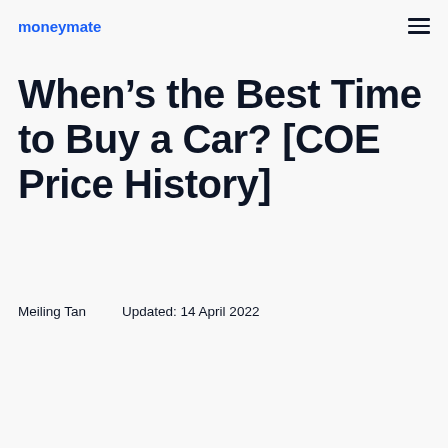moneymate
When’s the Best Time to Buy a Car? [COE Price History]
Meiling Tan    Updated: 14 April 2022